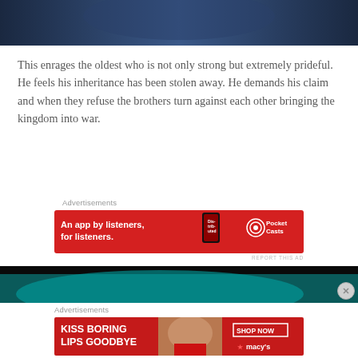[Figure (photo): Top portion of an illustration or digital artwork showing figures in a dark blue-toned scene, partially cropped]
This enrages the oldest who is not only strong but extremely prideful.  He feels his inheritance has been stolen away. He demands his claim and when they refuse the brothers turn against each other bringing the kingdom into war.
Advertisements
[Figure (photo): Red advertisement banner for Pocket Casts: 'An app by listeners, for listeners.' with phone graphic and Pocket Casts logo]
REPORT THIS AD
[Figure (photo): Bottom dark image with teal/cyan tones, partially cropped, appears to be another illustration or article image]
Advertisements
[Figure (photo): Red advertisement banner for Macy's: 'KISS BORING LIPS GOODBYE' with 'SHOP NOW' button and Macy's star logo, featuring a woman with red lips]